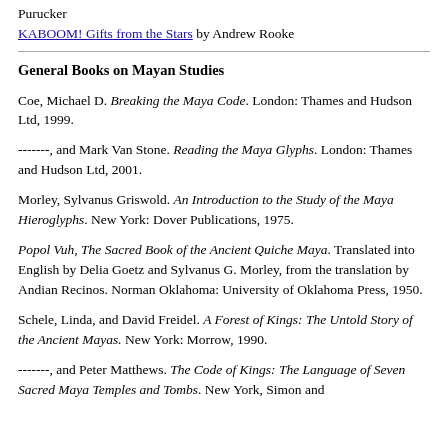Purucker
KABOOM! Gifts from the Stars by Andrew Rooke
General Books on Mayan Studies
Coe, Michael D. Breaking the Maya Code. London: Thames and Hudson Ltd, 1999.
-------, and Mark Van Stone. Reading the Maya Glyphs. London: Thames and Hudson Ltd, 2001.
Morley, Sylvanus Griswold. An Introduction to the Study of the Maya Hieroglyphs. New York: Dover Publications, 1975.
Popol Vuh, The Sacred Book of the Ancient Quiche Maya. Translated into English by Delia Goetz and Sylvanus G. Morley, from the translation by Andian Recinos. Norman Oklahoma: University of Oklahoma Press, 1950.
Schele, Linda, and David Freidel. A Forest of Kings: The Untold Story of the Ancient Mayas. New York: Morrow, 1990.
-------, and Peter Matthews. The Code of Kings: The Language of Seven Sacred Maya Temples and Tombs. New York, Simon and